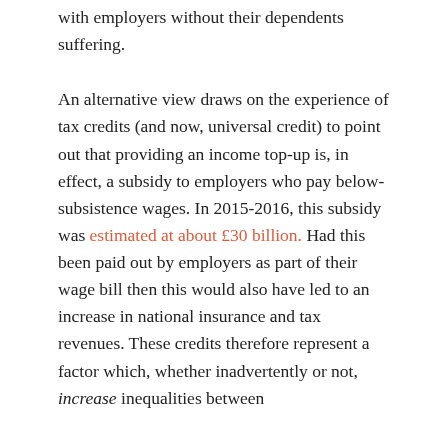with employers without their dependents suffering.
An alternative view draws on the experience of tax credits (and now, universal credit) to point out that providing an income top-up is, in effect, a subsidy to employers who pay below-subsistence wages. In 2015-2016, this subsidy was estimated at about £30 billion. Had this been paid out by employers as part of their wage bill then this would also have led to an increase in national insurance and tax revenues. These credits therefore represent a factor which, whether inadvertently or not, increase inequalities between